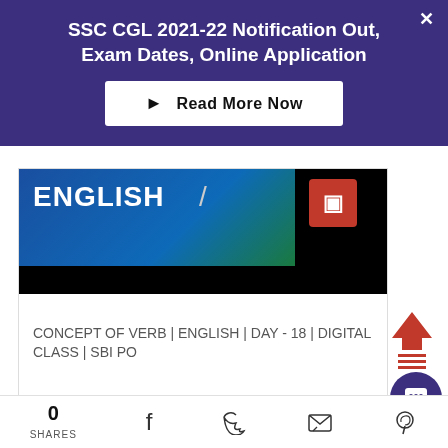SSC CGL 2021-22 Notification Out, Exam Dates, Online Application
Read More Now
[Figure (screenshot): ENGLISH text on blue/teal background with a logo box, black bar below — video thumbnail]
CONCEPT OF VERB | ENGLISH | DAY - 18 | DIGITAL CLASS | SBI PO
0 SHARES  [Facebook] [Twitter] [Email] [Pinterest]